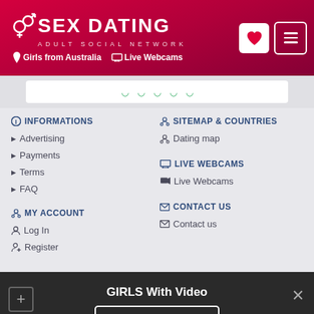SEX DATING — ADULT SOCIAL NETWORK — Girls from Australia | Live Webcams
[Figure (screenshot): Star rating placeholder row with green crown/star icons on white background]
INFORMATIONS
Advertising
Payments
Terms
FAQ
SITEMAP & COUNTRIES
Dating map
LIVE WEBCAMS
Live Webcams
MY ACCOUNT
Log In
Register
CONTACT US
Contact us
GIRLS With Video
SHOW ME